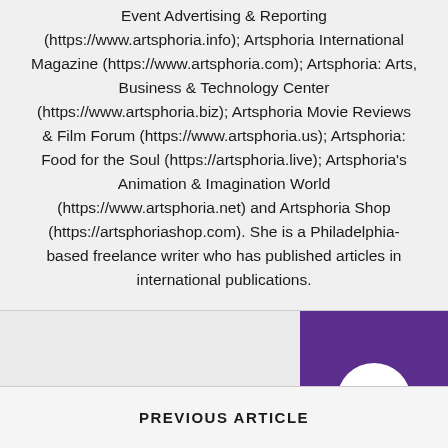Event Advertising & Reporting (https://www.artsphoria.info); Artsphoria International Magazine (https://www.artsphoria.com); Artsphoria: Arts, Business & Technology Center (https://www.artsphoria.biz); Artsphoria Movie Reviews & Film Forum (https://www.artsphoria.us); Artsphoria: Food for the Soul (https://artsphoria.live); Artsphoria's Animation & Imagination World (https://www.artsphoria.net) and Artsphoria Shop (https://artsphoriashop.com). She is a Philadelphia-based freelance writer who has published articles in international publications.
[Figure (other): Social media icons (globe and Twitter bird) and a purple scroll-to-top button with a white upward chevron arrow]
PREVIOUS ARTICLE